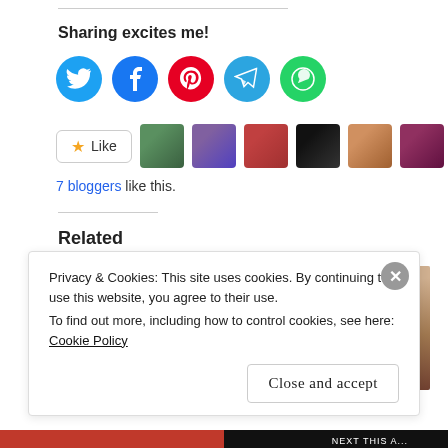Sharing excites me!
[Figure (infographic): Five social media share buttons: Twitter (blue), Facebook (blue), Pinterest (red), Telegram (light blue), WhatsApp (green)]
[Figure (infographic): Like button with star icon and 7 blogger avatar thumbnails]
7 bloggers like this.
Related
[Figure (photo): Close-up photo of a woman's face]
[Figure (infographic): Image with text '2017 In' and a woman smiling, from www.nappyhaired.com]
Privacy & Cookies: This site uses cookies. By continuing to use this website, you agree to their use.
To find out more, including how to control cookies, see here: Cookie Policy
Close and accept